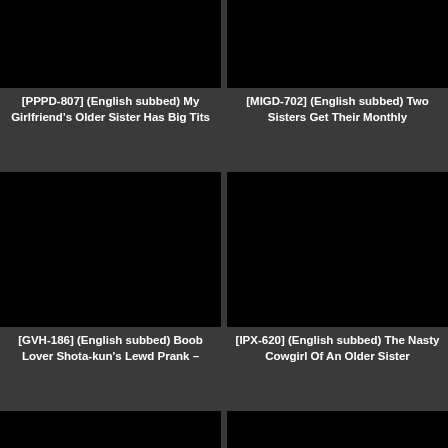[Figure (screenshot): Black thumbnail image top-left]
[PPPD-807] (English subbed) My Girlfriend’s Older Sister Has Big Tits
[Figure (screenshot): Black thumbnail image top-right]
[MIGD-702] (English subbed) Two Sisters Get Their Monthly
[Figure (screenshot): Black thumbnail image middle-left]
[GVH-186] (English subbed) Boob Lover Shota-kun’s Lewd Prank –
[Figure (screenshot): Black thumbnail image middle-right]
[IPX-620] (English subbed) The Nasty Cowgirl Of An Older Sister
[Figure (screenshot): Black thumbnail image bottom-left]
[Figure (screenshot): Black thumbnail image bottom-right]